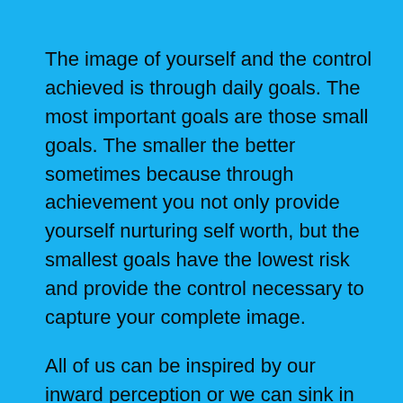The image of yourself and the control achieved is through daily goals. The most important goals are those small goals. The smaller the better sometimes because through achievement you not only provide yourself nurturing self worth, but the smallest goals have the lowest risk and provide the control necessary to capture your complete image.
All of us can be inspired by our inward perception or we can sink in the mud and trudge along a road of self pity and never reach success. Observe what you know and what intellectual property you have in your mind. Make a plan to create that material. Control your life and make your future a vision under your control. We are imagining the peak of your success everyday.